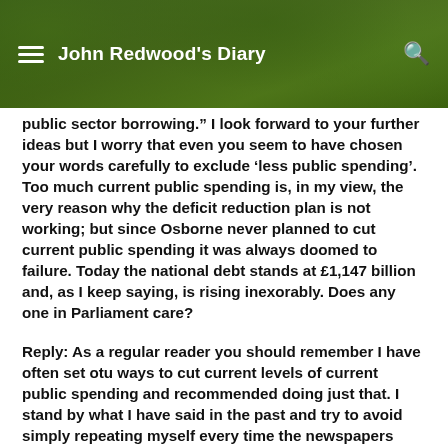John Redwood's Diary
public sector borrowing.” I look forward to your further ideas but I worry that even you seem to have chosen your words carefully to exclude ‘less public spending’. Too much current public spending is, in my view, the very reason why the deficit reduction plan is not working; but since Osborne never planned to cut current public spending it was always doomed to failure. Today the national debt stands at £1,147 billion and, as I keep saying, is rising inexorably. Does any one in Parliament care?
Reply: As a regular reader you should remember I have often set otu ways to cut current levels of current public spending and recommended doing just that. I stand by what I have said in the past and try to avoid simply repeating myself every time the newspapers catch up with the reality. I proposed 5% less…